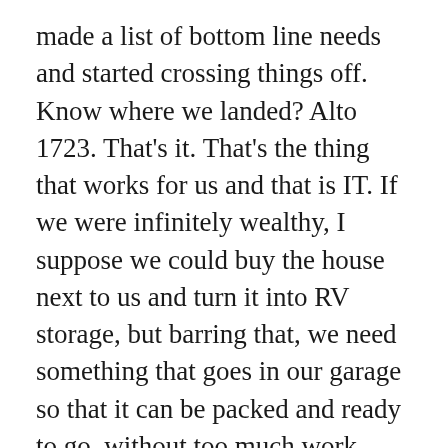made a list of bottom line needs and started crossing things off. Know where we landed? Alto 1723. That's it. That's the thing that works for us and that is IT. If we were infinitely wealthy, I suppose we could buy the house next to us and turn it into RV storage, but barring that, we need something that goes in our garage so that it can be packed and ready to go, without too much work, every Friday afternoon. Additionally, and in order of priority, we need: 1) indoor toilet, 2) indoor shower, 3) indoor gas stove, 4) bed large enough for bed roll, 5) heater, 6) bike rack, 7) tow car (ie not a van). If you cross reference that list against something that can be stored